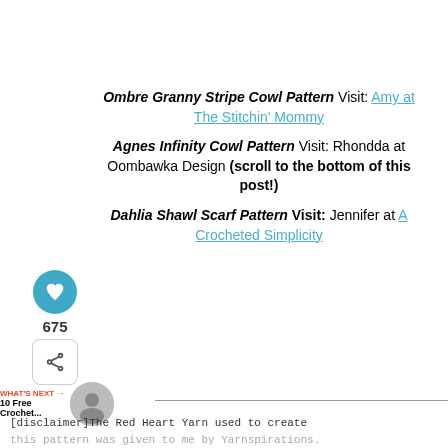Ombre Granny Stripe Cowl Pattern Visit: Amy at The Stitchin' Mommy
Agnes Infinity Cowl Pattern Visit: Rhondda at Oombawka Design (scroll to the bottom of this post!)
Dahlia Shawl Scarf Pattern Visit: Jennifer at A Crocheted Simplicity
[Figure (infographic): Heart like button (blue circle with heart icon) showing count 675, and a share button below]
WHAT'S NEXT → 10 Free Crochet...
[disclaimer]The Red Heart Yarn used to create this pattern was given to me by Yarnspirations. [/disclaimer]